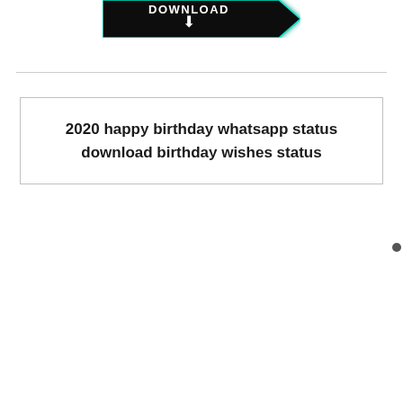[Figure (other): Black download button with arrow pointing down, teal glow effect, on white background]
2020 happy birthday whatsapp status download birthday wishes status